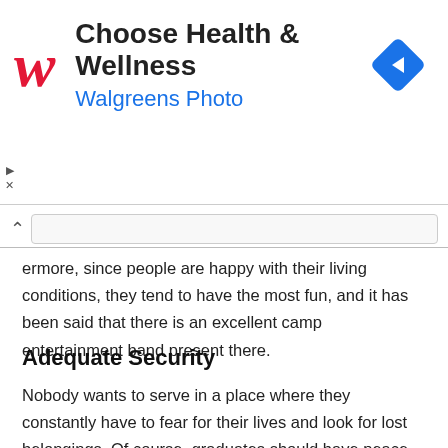[Figure (other): Walgreens advertisement banner with logo, 'Choose Health & Wellness' headline, 'Walgreens Photo' subtitle, and a blue navigation diamond icon. Ad controls (play and close buttons) visible on the left.]
ermore, since people are happy with their living conditions, they tend to have the most fun, and it has been said that there is an excellent camp entertainment band present there.
Adequate Security
Nobody wants to serve in a place where they constantly have to fear for their lives and look for lost belongings. Of course, graduates should have peace and rest of mind wherever they are serving, so Ogun state's orientation camp is ranked as Nigeria's best orientation camp because it is highly secured from thieves and